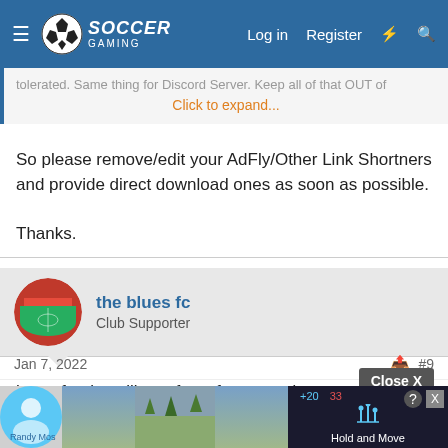Soccer Gaming – Log in | Register
tolerated. Same thing for Discord Server. Keep all of that OUT of
Click to expand...
So please remove/edit your AdFly/Other Link Shortners and provide direct download ones as soon as possible.

Thanks.
the blues fc
Club Supporter
Jan 7, 2022
#9
hey, after installing a few of your mods, many of the players heads are missing in the game, what do i do??
[Figure (screenshot): Advertisement banner at the bottom with user avatar, outdoor image, and Hold and Move app promotion]